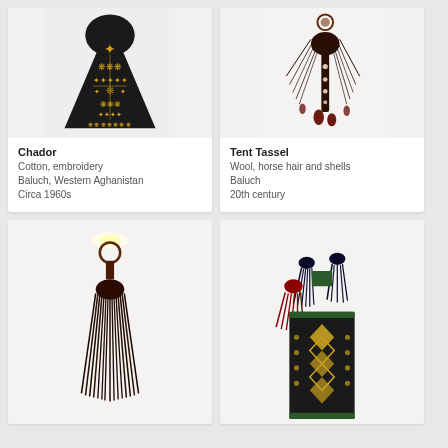[Figure (photo): Chador - black cotton garment with gold embroidery in cross/tree pattern, triangular hooded shape]
Chador
Cotton, embroidery
Baluch, Western Aghanistan
Circa 1960s
[Figure (photo): Tent Tassel - dark decorative tassel made of wool, horse hair and shells, long fringed form]
Tent Tassel
Wool, horse hair and shells
Baluch
20th century
[Figure (photo): Small decorative tassel/ornament with dark brown wool fringe on white background]
[Figure (photo): Decorative bag or bag face with geometric kilim pattern, dark colors with tassels on top]